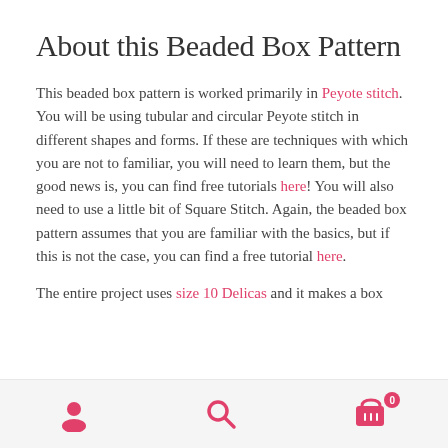About this Beaded Box Pattern
This beaded box pattern is worked primarily in Peyote stitch. You will be using tubular and circular Peyote stitch in different shapes and forms. If these are techniques with which you are not to familiar, you will need to learn them, but the good news is, you can find free tutorials here! You will also need to use a little bit of Square Stitch. Again, the beaded box pattern assumes that you are familiar with the basics, but if this is not the case, you can find a free tutorial here.
The entire project uses size 10 Delicas and it makes a box
Navigation bar with user, search, and cart icons